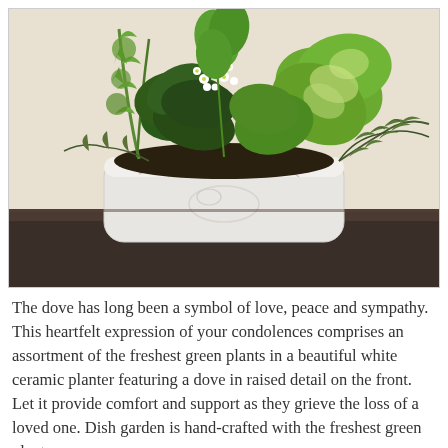[Figure (photo): A white ceramic rectangular planter featuring a raised dove design on the front, filled with an assortment of lush green plants including ivy, basil-like plants, and white flowering kalanchoe, placed on a dark wooden surface against a beige/cream background.]
The dove has long been a symbol of love, peace and sympathy. This heartfelt expression of your condolences comprises an assortment of the freshest green plants in a beautiful white ceramic planter featuring a dove in raised detail on the front. Let it provide comfort and support as they grieve the loss of a loved one. Dish garden is hand-crafted with the freshest green plants